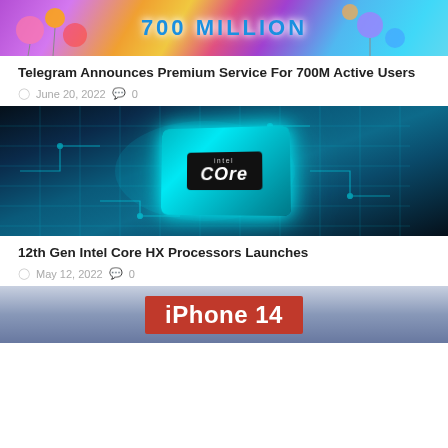[Figure (illustration): Telegram 700 Million banner with colorful balloons and celebratory graphics]
Telegram Announces Premium Service For 700M Active Users
June 20, 2022  0
[Figure (photo): Intel Core HX processor chip glowing in blue on a circuit board background]
12th Gen Intel Core HX Processors Launches
May 12, 2022  0
[Figure (illustration): iPhone 14 banner with red background and white bold text]